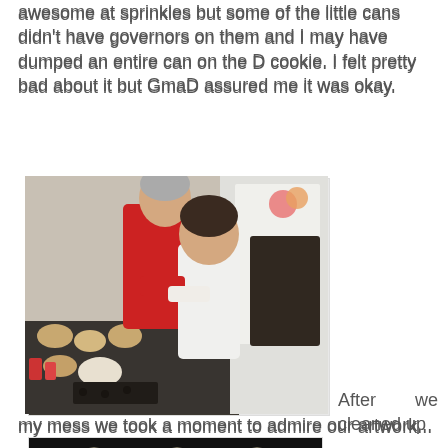awesome at sprinkles but some of the little cans didn't have governors on them and I may have dumped an entire can on the D cookie. I felt pretty bad about it but GmaD assured me it was okay.
[Figure (photo): An older woman in red helps a toddler in white decorate cookies on a messy kitchen counter covered with sprinkles and cookie decorating supplies.]
After we cleaned up my mess we took a moment to admire our artwork...
[Figure (photo): A tray of decorated sugar cookies on a dark background, each with colorful frosting and sprinkle designs including letters and patterns.]